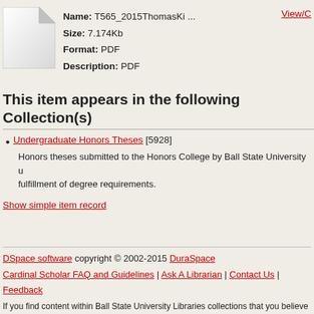[Figure (illustration): File icon: white/grey document page with folded top-right corner]
Name: T565_2015ThomasKi ...
Size: 7.174Kb
Format: PDF
Description: PDF
View/O
This item appears in the following Collection(s)
Undergraduate Honors Theses [5928]
Honors theses submitted to the Honors College by Ball State University u fulfillment of degree requirements.
Show simple item record
DSpace software copyright © 2002-2015  DuraSpace
Cardinal Scholar FAQ and Guidelines | Ask A Librarian | Contact Us | Feedback
If you find content within Ball State University Libraries collections that you believe ir review the material and take appropriate action. Copyright notifications must comply only the copyright owner or an authorized representative of the copyright owner can For more information, please see the Ball State University copyright statement.